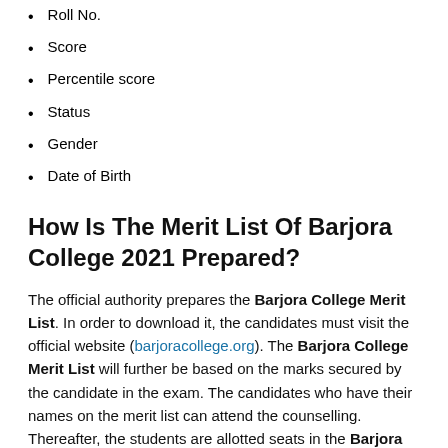Roll No.
Score
Percentile score
Status
Gender
Date of Birth
How Is The Merit List Of Barjora College 2021 Prepared?
The official authority prepares the Barjora College Merit List. In order to download it, the candidates must visit the official website (barjoracollege.org). The Barjora College Merit List will further be based on the marks secured by the candidate in the exam. The candidates who have their names on the merit list can attend the counselling. Thereafter, the students are allotted seats in the Barjora College Counselling Procedure. However, the candidates must make sure that they are present on the day of the counselling. Furthermore, they must also carry the required documents. However, they must make sure that the documents